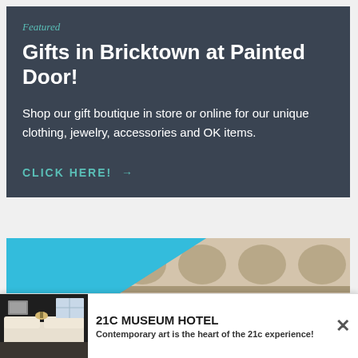Featured
Gifts in Bricktown at Painted Door!
Shop our gift boutique in store or online for our unique clothing, jewelry, accessories and OK items.
CLICK HERE! →
[Figure (photo): Hotel exterior/interior image with blue triangle overlay and ornate stone facade]
[Figure (photo): 21C Museum Hotel advertisement thumbnail showing hotel bedroom interior]
21C MUSEUM HOTEL
Contemporary art is the heart of the 21c experience!